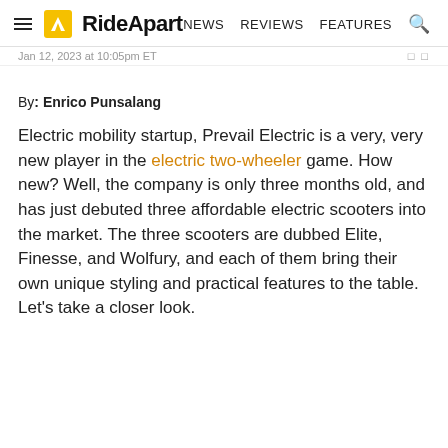RideApart — NEWS  REVIEWS  FEATURES
Jan 12, 2023 at 10:05pm ET
By: Enrico Punsalang
Electric mobility startup, Prevail Electric is a very, very new player in the electric two-wheeler game. How new? Well, the company is only three months old, and has just debuted three affordable electric scooters into the market. The three scooters are dubbed Elite, Finesse, and Wolfury, and each of them bring their own unique styling and practical features to the table. Let's take a closer look.